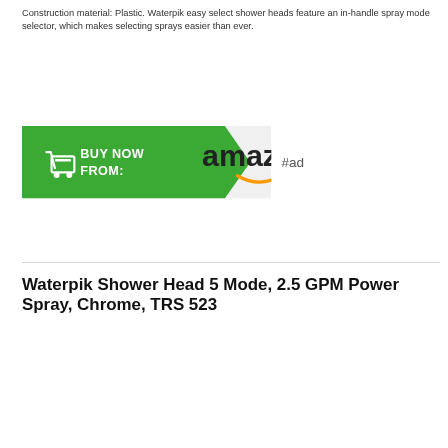Construction material: Plastic. Waterpik easy select shower heads feature an in-handle spray mode selector, which makes selecting sprays easier than ever.
[Figure (other): Amazon 'Buy Now From' button advertisement banner with green arrow shape on left containing shopping cart icon and 'BUY NOW FROM:' text, and Amazon logo on gray background, followed by '#ad' text]
Waterpik Shower Head 5 Mode, 2.5 GPM Power Spray, Chrome, TRS 523